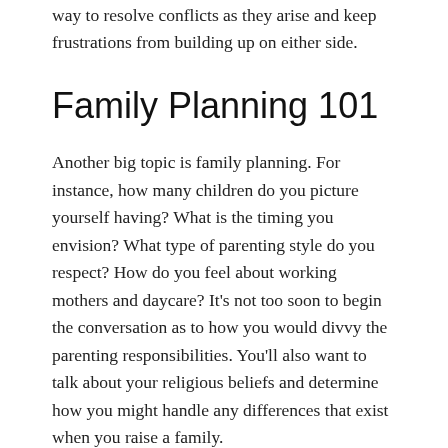way to resolve conflicts as they arise and keep frustrations from building up on either side.
Family Planning 101
Another big topic is family planning. For instance, how many children do you picture yourself having? What is the timing you envision? What type of parenting style do you respect? How do you feel about working mothers and daycare? It's not too soon to begin the conversation as to how you would divvy the parenting responsibilities. You'll also want to talk about your religious beliefs and determine how you might handle any differences that exist when you raise a family.
How to Find
You can look for therapists and clergymen who offer